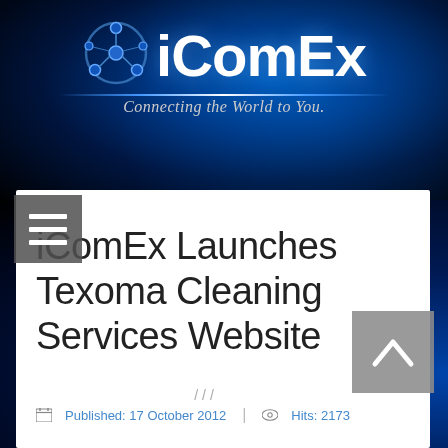[Figure (logo): iComEx logo with blue molecular network graphic and tagline 'Connecting the World to You.' on dark blue starfield background]
iComEx Launches Texoma Cleaning Services Website
Published: 17 October 2012  |  Hits: 2173